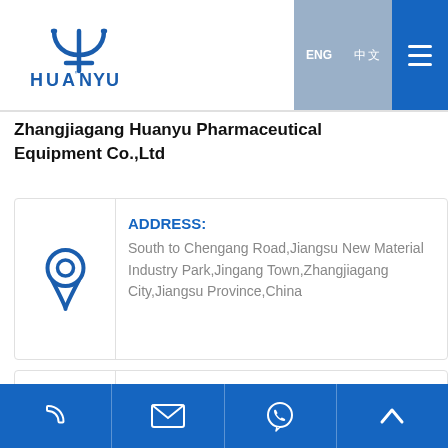[Figure (logo): Huanyu company logo - blue trident/psi symbol above text HUANYU]
ENG | 中文 [hamburger menu]
Zhangjiagang Huanyu Pharmaceutical Equipment Co.,Ltd
ADDRESS: South to Chengang Road,Jiangsu New Material Industry Park,Jingang Town,Zhangjiagang City,Jiangsu Province,China
Tel: +86-15150235218
[phone icon] [email icon] [whatsapp icon] [up arrow icon]